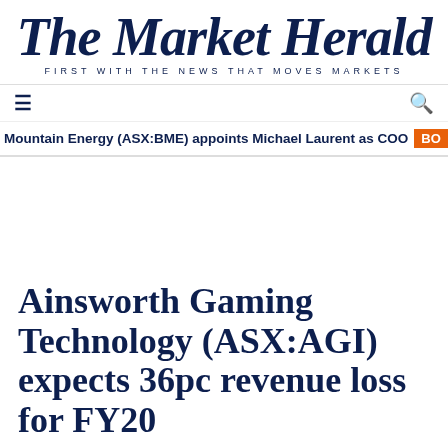The Market Herald
FIRST WITH THE NEWS THAT MOVES MARKETS
Mountain Energy (ASX:BME) appoints Michael Laurent as COO
Ainsworth Gaming Technology (ASX:AGI) expects 36pc revenue loss for FY20
Consumer Discretionary
ASX:AGI   MCAR $396.4M